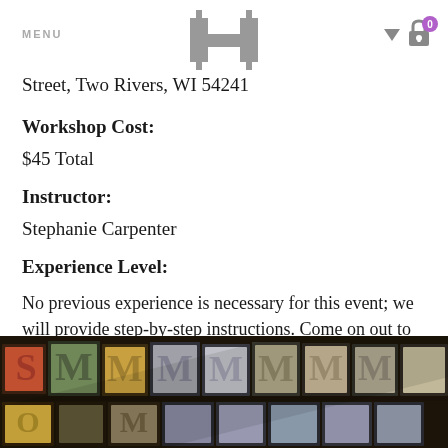MENU [H logo] [cart icon 0]
Street, Two Rivers, WI 54241
Workshop Cost:
$45 Total
Instructor:
Stephanie Carpenter
Experience Level:
No previous experience is necessary for this event; we will provide step-by-step instructions. Come on out to drink a bit and print a lot!
[Figure (photo): Close-up photo of colorful letterpress type blocks arranged in rows, showing wooden and metal type in various colors including red, green, yellow, and grey.]